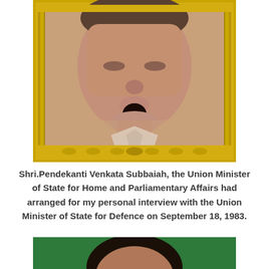[Figure (photo): Portrait of Shri.Pendekanti Venkata Subbaiah in a gold ornate frame, showing a man in a white shirt.]
Shri.Pendekanti Venkata Subbaiah, the Union Minister of State for Home and Parliamentary Affairs had arranged for my personal interview with the Union Minister of State for Defence on September 18, 1983.
[Figure (photo): Partial portrait photo of another person against a green background, cropped at the bottom of the page.]